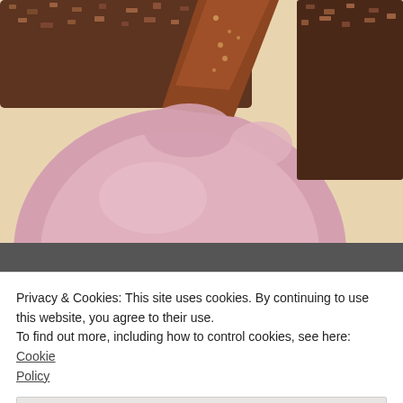[Figure (photo): Close-up photograph of chocolate concrete dessert with pink ice cream or mousse and a chocolate crumble coating, viewed from above against a light background.]
ABOUT   RECIPES   BLOG   REVIEWS
Chocolate Concrete
Privacy & Cookies: This site uses cookies. By continuing to use this website, you agree to their use.
To find out more, including how to control cookies, see here: Cookie Policy
Close and accept